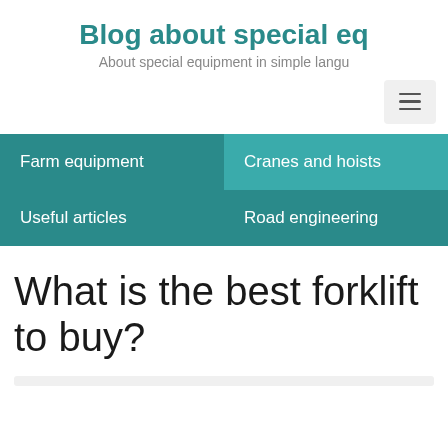Blog about special eq
About special equipment in simple langu
Farm equipment
Cranes and hoists
Useful articles
Road engineering
What is the best forklift to buy?